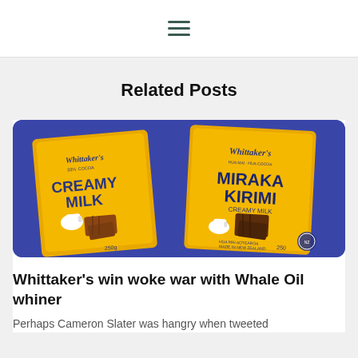☰
Related Posts
[Figure (photo): Two Whittaker's chocolate bars side by side on a blue background — Creamy Milk (yellow packaging, left) and Miraka Kirimi Creamy Milk (yellow packaging, right), both showing chocolate pieces and a cream jug illustration, made in New Zealand, 250g.]
Whittaker's win woke war with Whale Oil whiner
Perhaps Cameron Slater was hangry when tweeted